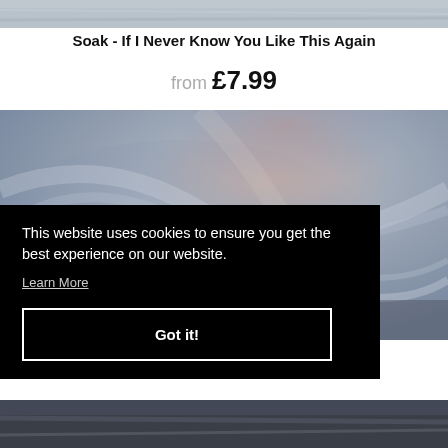[Figure (photo): Top partial photo of album artwork, muted gray-blue tones]
Soak - If I Never Know You Like This Again
from £7.99
[Figure (photo): Painterly album cover artwork with swirling muted blue, gray, and brownish tones suggesting sky or sea]
This website uses cookies to ensure you get the best experience on our website.
Learn More
Got it!
[Figure (photo): Bottom partial photo, dark stormy sky or landscape]